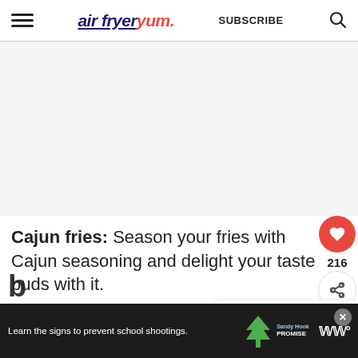air fryer yum. SUBSCRIBE
[Figure (other): Gray placeholder advertisement area]
Cajun fries: Season your fries with Cajun seasoning and delight your taste buds with it.
[Figure (other): WHAT'S NEXT arrow — Air fryer sliced potatoes...]
Learn the signs to prevent school shootings. Sandy Hook Promise